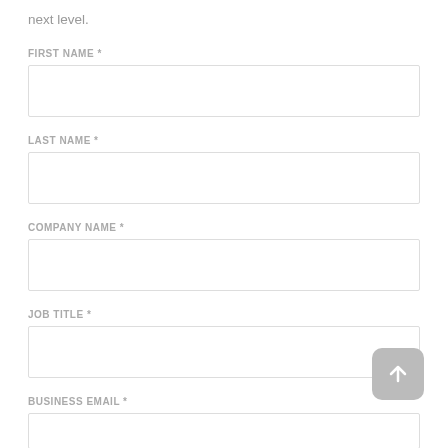next level.
FIRST NAME *
LAST NAME *
COMPANY NAME *
JOB TITLE *
BUSINESS EMAIL *